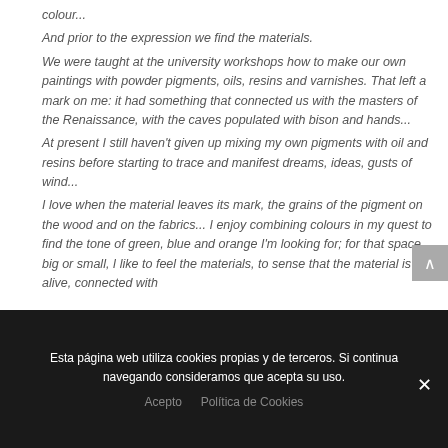colour...
And prior to the expression we find the materials.
We were taught at the university workshops how to make our own paintings with powder pigments, oils, resins and varnishes. That left a mark on me: it had something that connected us with the masters of the Renaissance, with the caves populated with bison and hands...
At present I still haven't given up mixing my own pigments with oil and resins before starting to trace and manifest dreams, ideas, gusts of wind...
I love when the material leaves its mark, the grains of the pigment on the wood and on the fabrics... I enjoy combining colours in my quest to find the tone of green, blue and orange I'm looking for; for that space, big or small, I like to feel the materials, to sense that the material is alive, connected with
Esta página web utiliza cookies propias y de terceros. Si continua navegando consideramos que acepta su uso.
Acepto   Política de Cookies